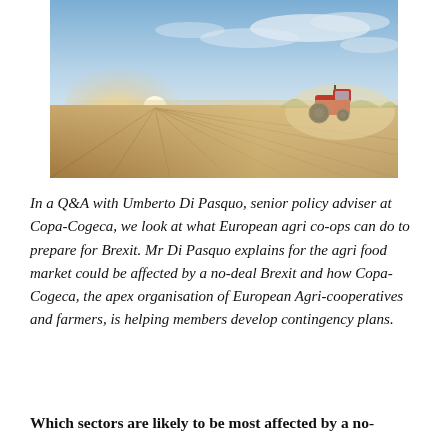[Figure (photo): Aerial/wide-angle photo of a tractor working a large dusty agricultural field at sunset/sunrise, with sun rays spreading across the field and a dramatic sky with clouds.]
In a Q&A with Umberto Di Pasquo, senior policy adviser at Copa-Cogeca, we look at what European agri co-ops can do to prepare for Brexit. Mr Di Pasquo explains for the agri food market could be affected by a no-deal Brexit and how Copa-Cogeca, the apex organisation of European Agri-cooperatives and farmers, is helping members develop contingency plans.
Which sectors are likely to be most affected by a no-